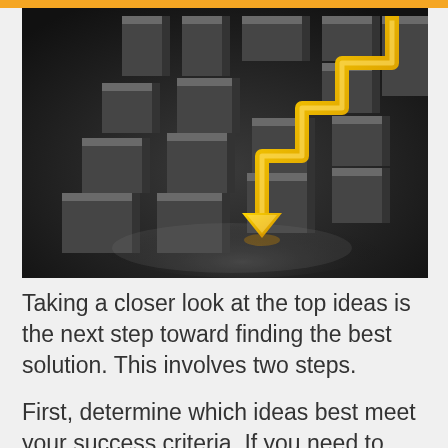[Figure (illustration): A dark 3D maze with a golden/yellow arrow navigating through it, pointing downward toward the center of the maze, viewed from an angle. The maze is made of dark grey/black walls on a dark background.]
Taking a closer look at the top ideas is the next step toward finding the best solution. This involves two steps.
First, determine which ideas best meet your success criteria. If you need to reduce your criteria for this step, focus on the most critical